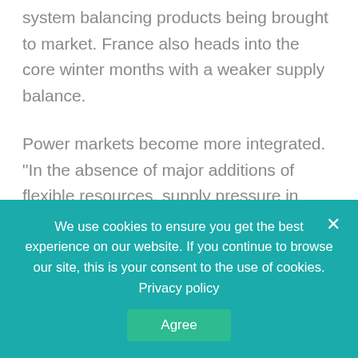system balancing products being brought to market. France also heads into the core winter months with a weaker supply balance.
Power markets become more integrated. "In the absence of major additions of flexible resources, supply pressure in 2021 will be determined by the availability of existing generators and the scale of thermal plant closures. The ability of Europe's power systems to cope with the winter's challenges will be
We use cookies to ensure you get the best experience on our website. If you continue to browse our site, this is your consent to the use of cookies. Privacy policy